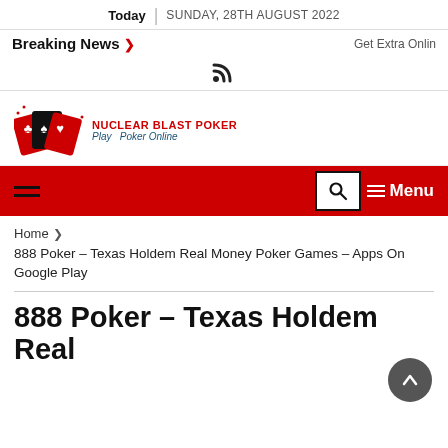Today | SUNDAY, 28TH AUGUST 2022
Breaking News > Get Extra Onlin
[Figure (illustration): RSS feed icon]
[Figure (logo): Nuclear Blast Poker logo with playing cards and text: NUCLEAR BLAST POKER Play Poker Online]
Hamburger menu icon | Search icon | Menu
Home > 888 Poker – Texas Holdem Real Money Poker Games – Apps On Google Play
888 Poker – Texas Holdem Real